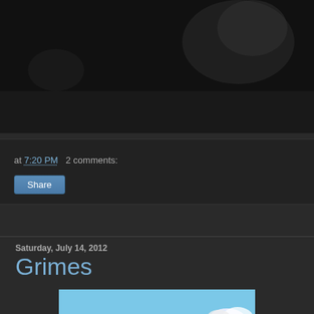[Figure (photo): Dark blurry background image at top of blog page, showing dark tones with some light blur effects in upper right]
at 7:20 PM   2 comments:
Share
Saturday, July 14, 2012
Grimes
[Figure (illustration): Animated illustration showing a girl with long dark hair viewed from behind, facing a large white cartoon chicken. Background shows a farm scene with orange earth, green trees, a thatched-roof building, white fence, and blue sky.]